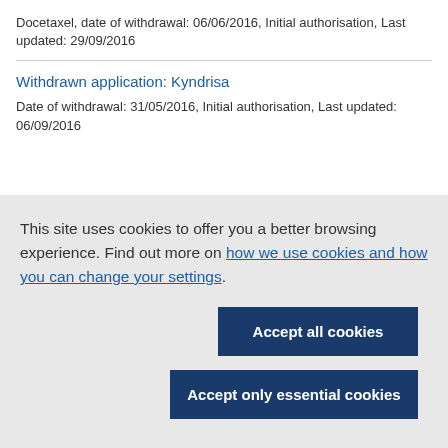Docetaxel, date of withdrawal: 06/06/2016, Initial authorisation, Last updated: 29/09/2016
Withdrawn application: Kyndrisa
Date of withdrawal: 31/05/2016, Initial authorisation, Last updated: 06/09/2016
This site uses cookies to offer you a better browsing experience. Find out more on how we use cookies and how you can change your settings.
Accept all cookies
Accept only essential cookies